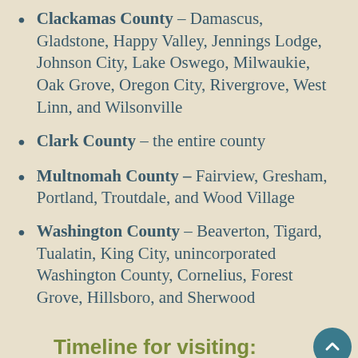Clackamas County – Damascus, Gladstone, Happy Valley, Jennings Lodge, Johnson City, Lake Oswego, Milwaukie, Oak Grove, Oregon City, Rivergrove, West Linn, and Wilsonville
Clark County – the entire county
Multnomah County – Fairview, Gresham, Portland, Troutdale, and Wood Village
Washington County – Beaverton, Tigard, Tualatin, King City, unincorporated Washington County, Cornelius, Forest Grove, Hillsboro, and Sherwood
Timeline for visiting:
We're experiencing unprecedented demand